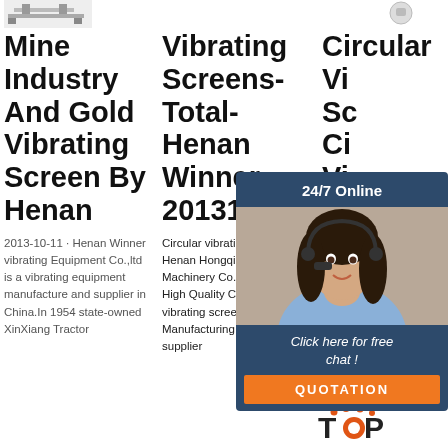[Figure (photo): Small image of a piece of mining or vibrating screen equipment, top left]
[Figure (photo): Small icon/logo top right area]
Mine Industry And Gold Vibrating Screen By Henan
Vibrating Screens- Total- Henan Winner- 20131011 -
Circular Vibrating Screen- Circular Vibrating Screen
2013-10-11 · Henan Winner vibrating Equipment Co.,ltd is a vibrating equipment manufacture and supplier in China.In 1954 state-owned XinXiang Tractor
Circular vibrating screen from Henan Hongqi Lifting Machinery Co., Ltd.. Search High Quality Circular vibrating screen Manufacturing and Exporting supplier
XinXiang... Vibrating Co.,... established in the year of 2009, located in China biggest machinery manufacture base
[Figure (photo): Chat popup with woman wearing headset, 24/7 Online header, Click here for free chat text, and QUOTATION orange button]
[Figure (logo): TOP logo with orange dot and orange circle accents, bottom right area]